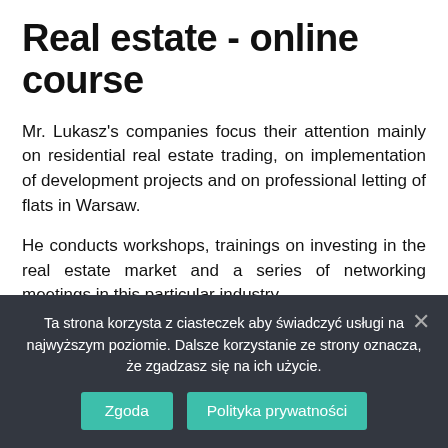Real estate - online course
Mr. Lukasz's companies focus their attention mainly on residential real estate trading, on implementation of development projects and on professional letting of flats in Warsaw.
He conducts workshops, trainings on investing in the real estate market and a series of networking meetings in this particular industry.
Ta strona korzysta z ciasteczek aby świadczyć usługi na najwyższym poziomie. Dalsze korzystanie ze strony oznacza, że zgadzasz się na ich użycie.